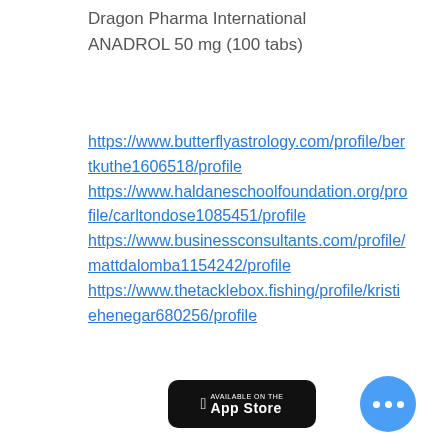Dragon Pharma International
ANADROL 50 mg (100 tabs)
https://www.butterflyastrology.com/profile/bertkuthe1606518/profile
https://www.haldaneschoolfoundation.org/profile/carltondose1085451/profile
https://www.businessconsultants.com/profile/mattdalomba1154242/profile
https://www.thetacklebox.fishing/profile/kristiehenegar680256/profile
[Figure (screenshot): App Store download button (black rounded rectangle with Apple logo and 'Available on the App Store' text)]
[Figure (other): Blue circular button with three white dots (more/menu button)]